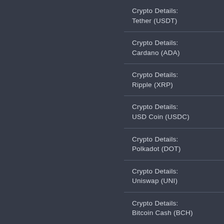Crypto Details: Tether (USDT)
Crypto Details: Cardano (ADA)
Crypto Details: Ripple (XRP)
Crypto Details: USD Coin (USDC)
Crypto Details: Polkadot (DOT)
Crypto Details: Uniswap (UNI)
Crypto Details: Bitcoin Cash (BCH)
Crypto Details: Litecoin (LTC)
Crypto Details: